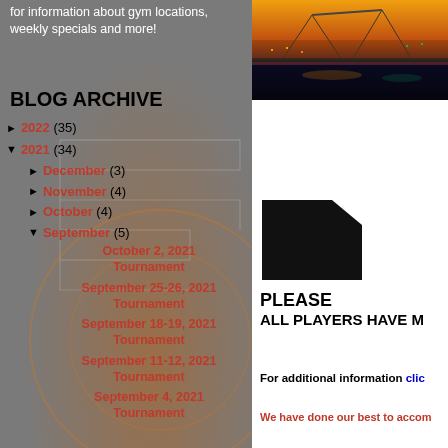for information about gym locations, weekly specials and more!
BLOG ARCHIVE
► 2022 (35)
▼ 2021 (34)
► December (3)
► November (4)
► October (4)
▼ September (5)
October 2, 2021 Tournament
September 25-26, 2021 Tournament
September 18-19, 2021 Tournament
September 11-12, 2021 Tournament
September 4, 2021 Tournament
[Figure (photo): City bridge at night/sunset with orange sky and lights reflecting on water]
[Figure (logo): Black partial shape logo, cropped on right edge]
PLEASE ALL PLAYERS HAVE M
For additional information clic
We have done our best to accom